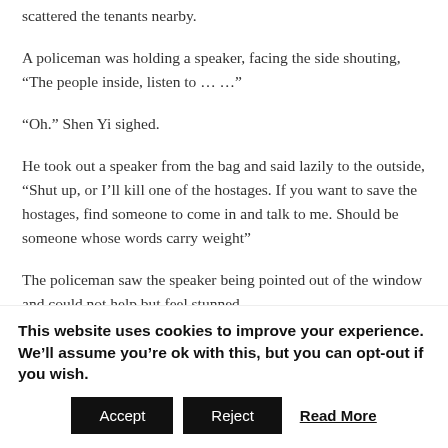A group of police officers was ready to storm in, as some are scattered the tenants nearby.
A policeman was holding a speaker, facing the side shouting, “The people inside, listen to … …”
“Oh.” Shen Yi sighed.
He took out a speaker from the bag and said lazily to the outside, “Shut up, or I’ll kill one of the hostages. If you want to save the hostages, find someone to come in and talk to me. Should be someone whose words carry weight”
The policeman saw the speaker being pointed out of the window and could not help but feel stunned.
This was the first time he had seen such a crazily-prepared assailant.
This website uses cookies to improve your experience. We’ll assume you’re ok with this, but you can opt-out if you wish.
Accept | Reject | Read More